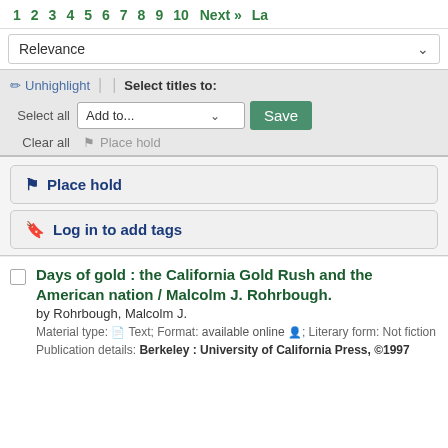1  2  3  4  5  6  7  8  9  10  Next »  La
Relevance
✏ Unhighlight  |  |  Select titles to:  Select all  Add to...  Save  Clear all  ▶ Place hold
▶ Place hold
▶ Log in to add tags
Days of gold : the California Gold Rush and the American nation / Malcolm J. Rohrbough.
by Rohrbough, Malcolm J.
Material type: Text; Format: available online ; Literary form: Not fiction
Publication details: Berkeley : University of California Press, ©1997